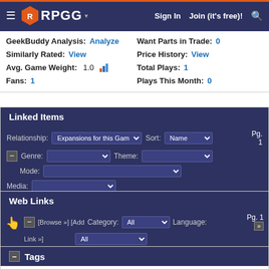RPGG | Sign In | Join (it's free)!
GeekBuddy Analysis: Analyze | Similarly Rated: View | Avg. Game Weight: 1.0 | Fans: 1 | Want Parts in Trade: 0 | Price History: View | Total Plays: 1 | Plays This Month: 0
Linked Items
Relationship: Expansions for this Game | Sort: Name | Genre: | Theme: | Mode: | Media:
No Items Found
Web Links
[Browse »] [Add Link »] Category: All | Language: All
No Web Links Found
Tags
Your Tags: Add tags